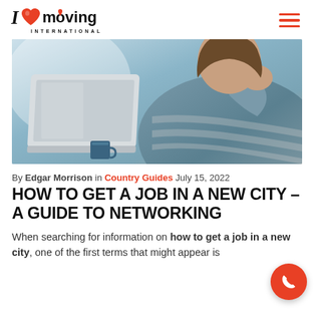[Figure (logo): I Love Moving International logo with red heart icon and map pin on the letter 'o']
[Figure (photo): Woman in striped sweater sitting at a laptop, with a blue mug in the foreground, bright background]
By Edgar Morrison in Country Guides July 15, 2022
HOW TO GET A JOB IN A NEW CITY – A GUIDE TO NETWORKING
When searching for information on how to get a job in a new city, one of the first terms that might appear is